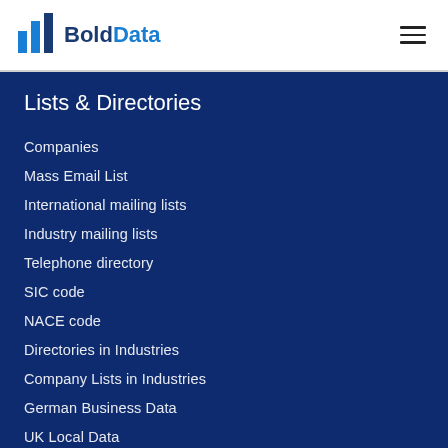BoldData
Lists & Directories
Companies
Mass Email List
International mailing lists
Industry mailing lists
Telephone directory
SIC code
NACE code
Directories in Industries
Company Lists in Industries
German Business Data
UK Local Data